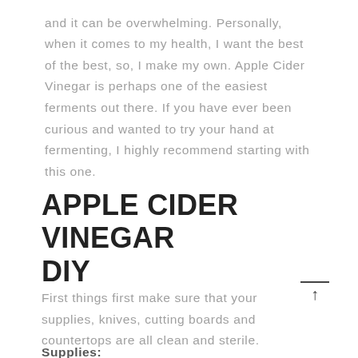and it can be overwhelming. Personally, when it comes to my health, I want the best of the best, so, I make my own. Apple Cider Vinegar is perhaps one of the easiest ferments out there. If you have ever been curious and wanted to try your hand at fermenting, I highly recommend starting with this one.
APPLE CIDER VINEGAR DIY
First things first make sure that your supplies, knives, cutting boards and countertops are all clean and sterile.
Supplies: